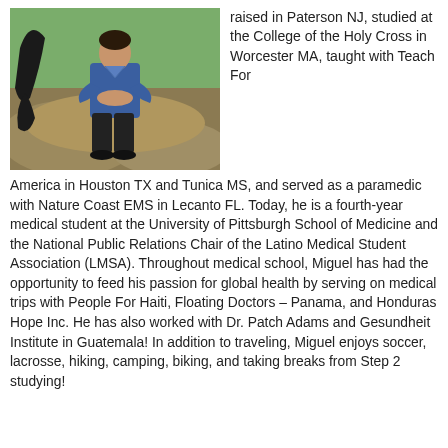[Figure (photo): A man sitting on large rocks outdoors next to a dark animal sculpture, wearing a blue shirt and dark pants.]
raised in Paterson NJ, studied at the College of the Holy Cross in Worcester MA, taught with Teach For America in Houston TX and Tunica MS, and served as a paramedic with Nature Coast EMS in Lecanto FL. Today, he is a fourth-year medical student at the University of Pittsburgh School of Medicine and the National Public Relations Chair of the Latino Medical Student Association (LMSA). Throughout medical school, Miguel has had the opportunity to feed his passion for global health by serving on medical trips with People For Haiti, Floating Doctors – Panama, and Honduras Hope Inc. He has also worked with Dr. Patch Adams and Gesundheit Institute in Guatemala! In addition to traveling, Miguel enjoys soccer, lacrosse, hiking, camping, biking, and taking breaks from Step 2 studying!